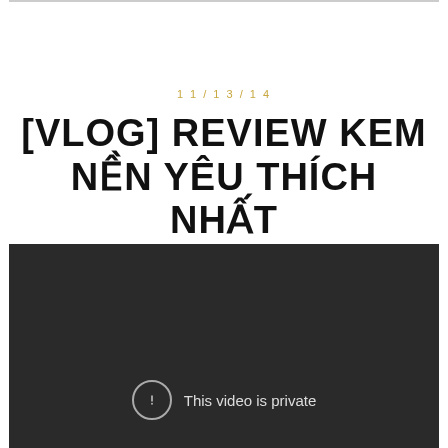11/13/14
[VLOG] REVIEW KEM NỀN YÊU THÍCH NHẤT
[Figure (screenshot): Dark video player showing 'This video is private' message with an exclamation mark icon]